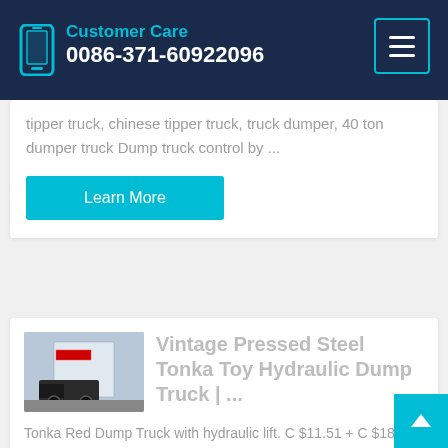Customer Care 0086-371-60922096
tipper truck, chinese tipper truck, truck dumper, 40 ton dumper truck Dump truck control by ...
Learn More
Vintage Pressed Steel Tonka Toy Hydraulic Dump Truck | ...
Tonka Red Dump Truck with hydraulic lift. C $11.51 + C $18.73 shipping + C $18.73 shipping + C $18.73 shi...